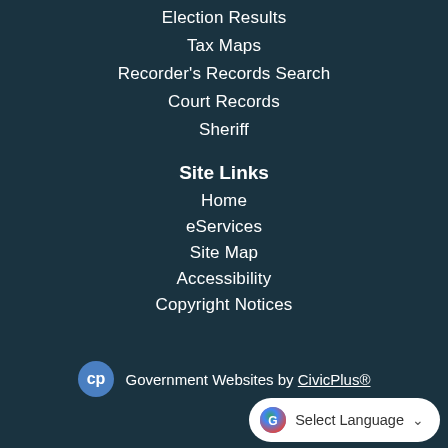Election Results
Tax Maps
Recorder's Records Search
Court Records
Sheriff
Site Links
Home
eServices
Site Map
Accessibility
Copyright Notices
Government Websites by CivicPlus®
Select Language